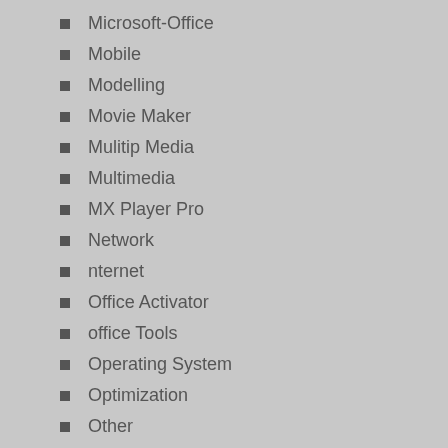Microsoft-Office
Mobile
Modelling
Movie Maker
Mulitip Media
Multimedia
MX Player Pro
Network
nternet
Office Activator
office Tools
Operating System
Optimization
Other
PC
PC Antivirus
PC Game